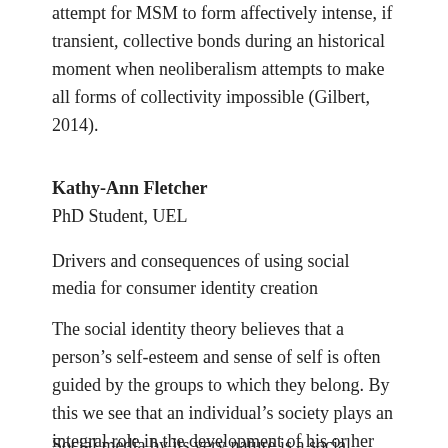attempt for MSM to form affectively intense, if transient, collective bonds during an historical moment when neoliberalism attempts to make all forms of collectivity impossible (Gilbert, 2014).
Kathy-Ann Fletcher
PhD Student, UEL
Drivers and consequences of using social media for consumer identity creation
The social identity theory believes that a person’s self-esteem and sense of self is often guided by the groups to which they belong. By this we see that an individual’s society plays an integral role in the development of his or her identity.
Social media by its very nature is a social environment with the same ability to influence the development of